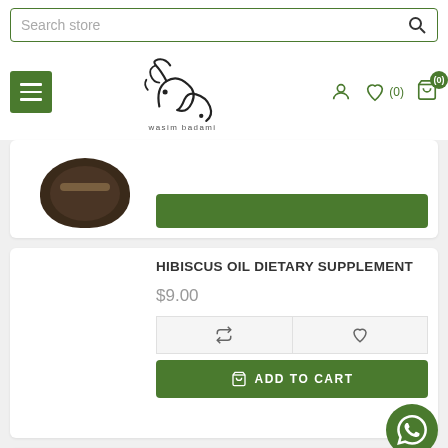Search store
[Figure (logo): Wasim Badami store logo with Arabic calligraphy and text 'wasim badami']
[Figure (photo): Product image - dark circular jar/bottle (partially visible, cropped)]
HIBISCUS OIL DIETARY SUPPLEMENT
$9.00
ADD TO CART
NEEM OIL DIETARY SUPPLEMENT